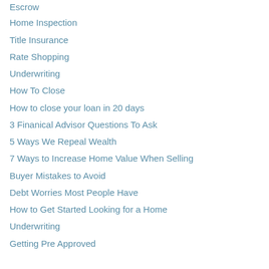Escrow
Home Inspection
Title Insurance
Rate Shopping
Underwriting
How To Close
How to close your loan in 20 days
3 Finanical Advisor Questions To Ask
5 Ways We Repeal Wealth
7 Ways to Increase Home Value When Selling
Buyer Mistakes to Avoid
Debt Worries Most People Have
How to Get Started Looking for a Home
Underwriting
Getting Pre Approved